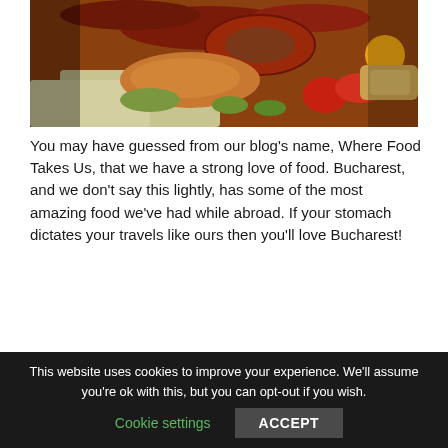[Figure (photo): A platter of grilled meats including sausages and chicken with fresh vegetables such as cabbage, cucumbers, tomatoes, and peppers on a wooden board.]
You may have guessed from our blog's name, Where Food Takes Us, that we have a strong love of food. Bucharest, and we don't say this lightly, has some of the most amazing food we've had while abroad. If your stomach dictates your travels like ours then you'll love Bucharest!
Some food to try:
This website uses cookies to improve your experience. We'll assume you're ok with this, but you can opt-out if you wish.
Cookie settings    ACCEPT